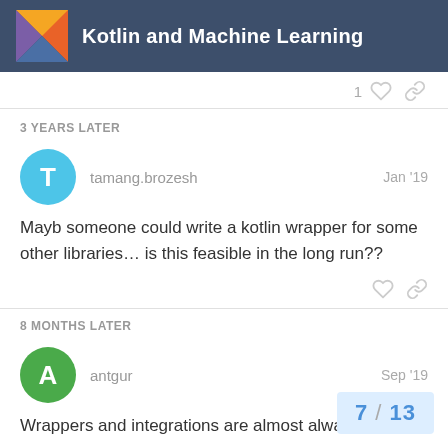Kotlin and Machine Learning
1
3 YEARS LATER
tamang.brozesh — Jan '19
Mayb someone could write a kotlin wrapper for some other libraries… is this feasible in the long run??
8 MONTHS LATER
antgur — Sep '19
Wrappers and integrations are almost alwa
7 / 13